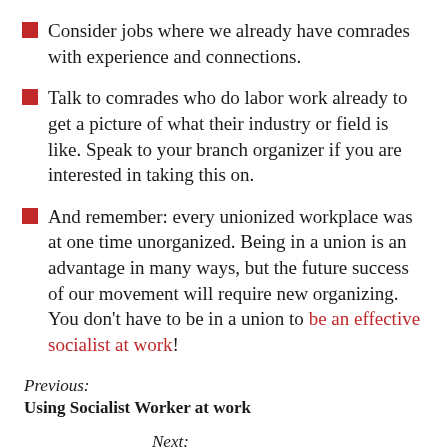Consider jobs where we already have comrades with experience and connections.
Talk to comrades who do labor work already to get a picture of what their industry or field is like. Speak to your branch organizer if you are interested in taking this on.
And remember: every unionized workplace was at one time unorganized. Being in a union is an advantage in many ways, but the future success of our movement will require new organizing. You don't have to be in a union to be an effective socialist at work!
Previous: Using Socialist Worker at work
Next: Strong contracts come from the bottom up